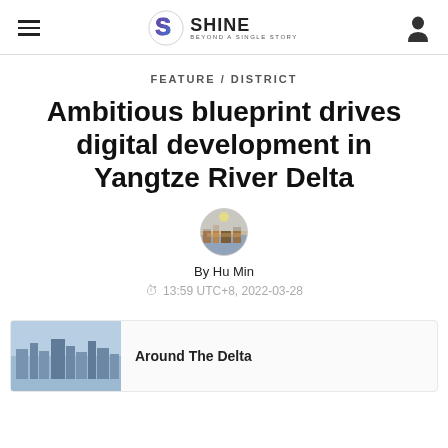SHINE — Beyond a Single Story
FEATURE / DISTRICT
Ambitious blueprint drives digital development in Yangtze River Delta
By Hu Min
13:59 UTC+8, 2022-03-28
Around The Delta